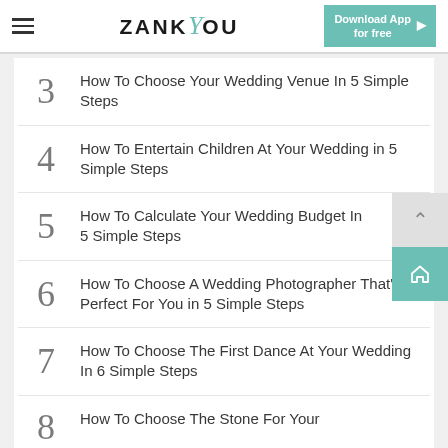ZANKYOU — Download App for free
3 How To Choose Your Wedding Venue In 5 Simple Steps
4 How To Entertain Children At Your Wedding in 5 Simple Steps
5 How To Calculate Your Wedding Budget In 5 Simple Steps
6 How To Choose A Wedding Photographer That's Perfect For You in 5 Simple Steps
7 How To Choose The First Dance At Your Wedding In 6 Simple Steps
8 How To Choose The Stone For Your